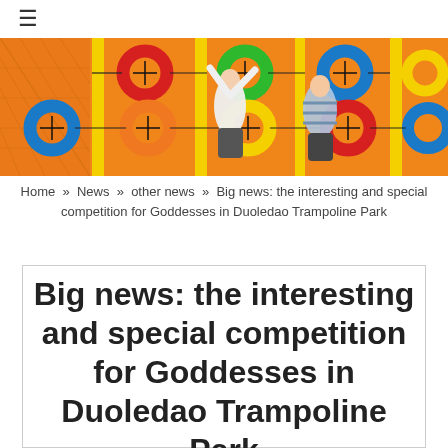≡
[Figure (photo): Children playing on colorful ring obstacle course in a trampoline/indoor playground, with orange netting and yellow poles, blue, green, red, yellow rings on the wall]
Home » News » other news » Big news: the interesting and special competition for Goddesses in Duoledao Trampoline Park
Big news: the interesting and special competition for Goddesses in Duoledao Trampoline Park